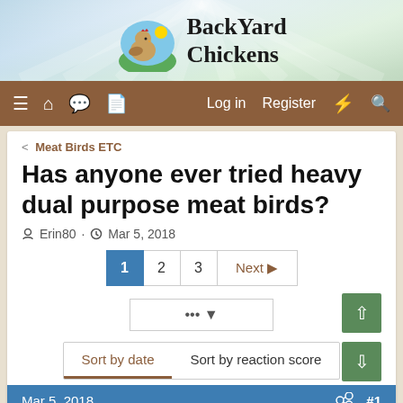[Figure (logo): BackYard Chickens website header with chicken logo and site name]
≡ 🏠 💬 📄  Log in  Register  ⚡  🔍
< Meat Birds ETC
Has anyone ever tried heavy dual purpose meat birds?
Erin80 · Mar 5, 2018
1  2  3  Next ▶
• • •  ▼
Sort by date  Sort by reaction score
Mar 5, 2018  #1
Erin80
Songster